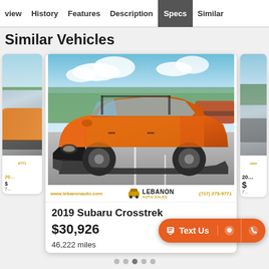view  History  Features  Description  Specs  Similar
Similar Vehicles
[Figure (photo): Orange 2019 Subaru Crosstrek photographed in a parking lot on a sunny day, front three-quarter view. Dealer bar shows www.lebanonauto.com, Lebanon Auto Sales logo, and phone (717) 273-9771.]
2019 Subaru Crosstrek
$30,926
46,222 miles